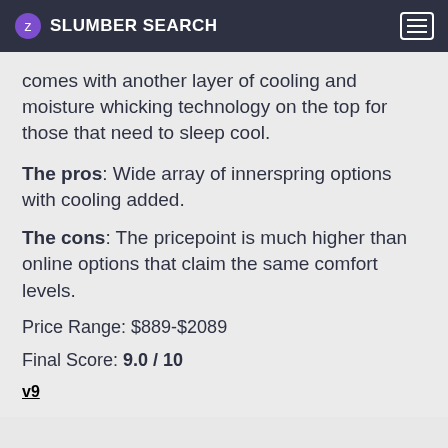SLUMBER SEARCH
comes with another layer of cooling and moisture whicking technology on the top for those that need to sleep cool.
The pros: Wide array of innerspring options with cooling added.
The cons: The pricepoint is much higher than online options that claim the same comfort levels.
Price Range: $889-$2089
Final Score: 9.0 / 10
v9